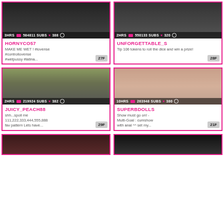[Figure (screenshot): Webcam thumbnail for HORNYCO57, dark clothing, 3HRS 584811 SUBS 388]
HORNYCO57
MAKE ME WET ! #lovense #controllovense #wetpussy #latina...
[Figure (screenshot): Webcam thumbnail for UNFORGETTABLE_S, 2HRS 550133 SUBS 320]
UNFORGETTABLE_S
Tip 106 tokens to roll the dice and win a prize!
[Figure (screenshot): Webcam thumbnail for JUICY_PEACH88, woman on couch, 2HRS 219924 SUBS 382]
JUICY_PEACH88
shh...spoil me 111,222,333,444,555,888 fav pattern Lets have...
[Figure (screenshot): Webcam thumbnail for SUPERBDOLLS, 10HRS 263948 SUBS 380]
SUPERBDOLLS
Show must go on! - Multi-Goal : cumshow with anal ^^ set my...
[Figure (screenshot): Webcam thumbnail bottom left, partial view]
[Figure (screenshot): Webcam thumbnail bottom right, partial view]